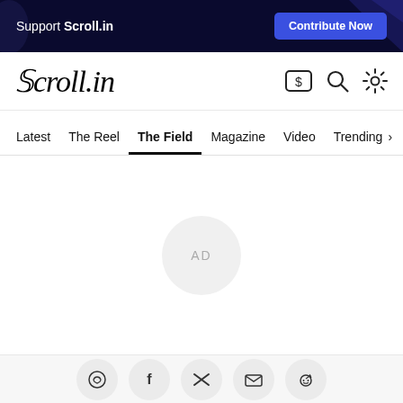Support Scroll.in | Contribute Now
[Figure (logo): Scroll.in logo in italic serif font with search, settings and dollar icons]
Latest | The Reel | The Field | Magazine | Video | Trending
[Figure (other): AD placeholder circle in center of page]
WhatsApp, Facebook, Twitter, Email, Reddit social share buttons